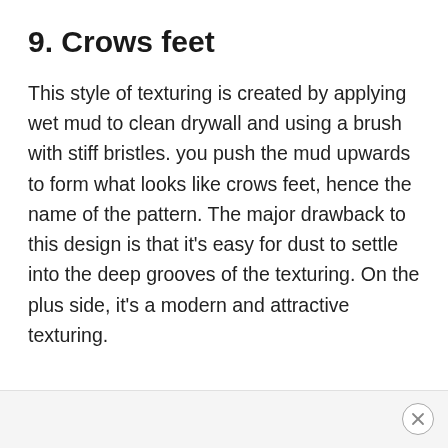9. Crows feet
This style of texturing is created by applying wet mud to clean drywall and using a brush with stiff bristles. you push the mud upwards to form what looks like crows feet, hence the name of the pattern. The major drawback to this design is that it's easy for dust to settle into the deep grooves of the texturing. On the plus side, it's a modern and attractive texturing.